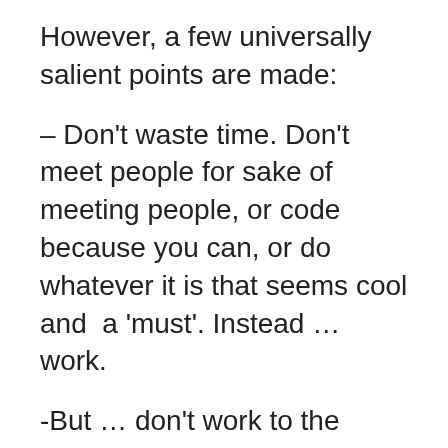However, a few universally salient points are made:
– Don't waste time. Don't meet people for sake of meeting people, or code because you can, or do whatever it is that seems cool and  a 'must'. Instead … work.
-But … don't work to the complete exclusion of everything else. Find your 'me